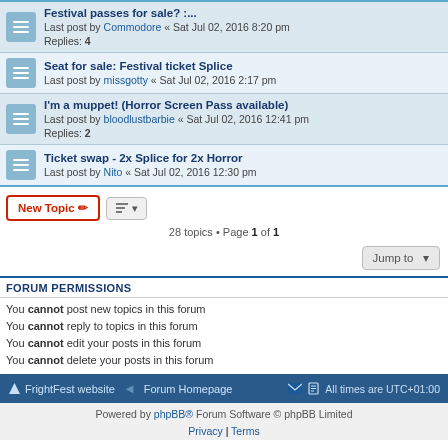Festival passes for sale? :.. Last post by Commodore « Sat Jul 02, 2016 8:20 pm Replies: 4
Seat for sale: Festival ticket Splice Last post by missgotty « Sat Jul 02, 2016 2:17 pm
I'm a muppet! (Horror Screen Pass available) Last post by bloodlustbarbie « Sat Jul 02, 2016 12:41 pm Replies: 2
Ticket swap - 2x Splice for 2x Horror Last post by Nito « Sat Jul 02, 2016 12:30 pm
28 topics • Page 1 of 1
FORUM PERMISSIONS
You cannot post new topics in this forum
You cannot reply to topics in this forum
You cannot edit your posts in this forum
You cannot delete your posts in this forum
FrightFest website | Forum Homepage | All times are UTC+01:00
Powered by phpBB® Forum Software © phpBB Limited
Privacy | Terms